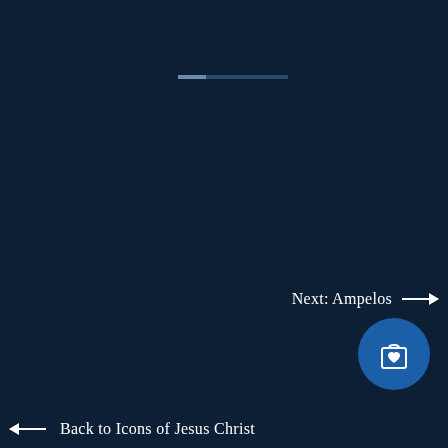[Figure (other): A loading/progress bar element near the top center of a dark navy blue screen, consisting of a short filled segment and a longer unfilled segment]
Next: Ampelos →
[Figure (other): A circular dark blue button with a shopping bag icon with a small heart symbol inside it]
← Back to Icons of Jesus Christ